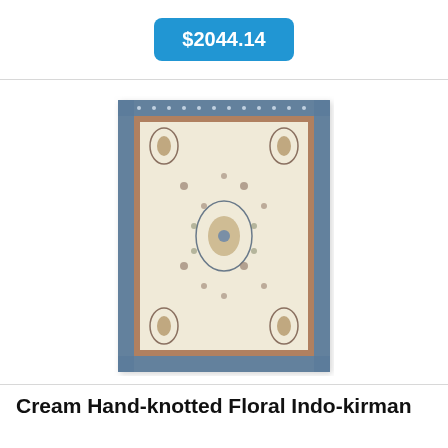$2044.14
[Figure (photo): Photo of a cream hand-knotted floral Indo-kirman rug with a blue border and intricate floral patterns on a cream/ivory background.]
Cream Hand-knotted Floral Indo-kirman